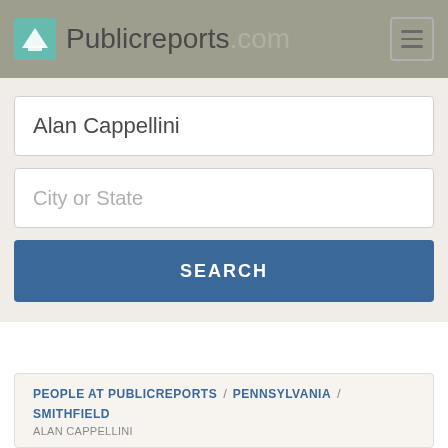Publicreports.com
Alan Cappellini
City or State
SEARCH
PEOPLE AT PUBLICREPORTS / PENNSYLVANIA / SMITHFIELD